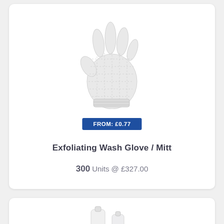[Figure (photo): White exfoliating mesh bath glove / mitt product photo on white background]
FROM: £0.77
Exfoliating Wash Glove / Mitt
300 Units @ £327.00
[Figure (photo): Partial view of bottle/dispenser products at bottom of page]